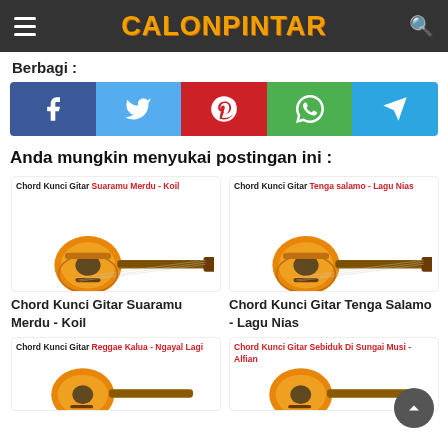CALONPINTAR
Berbagi :
[Figure (infographic): Social share buttons: Facebook, Twitter, Pinterest, WhatsApp, Telegram]
Anda mungkin menyukai postingan ini :
[Figure (illustration): Guitar image with text: Chord Kunci Gitar Suaramu Merdu - Koil]
Chord Kunci Gitar Suaramu Merdu - Koil
[Figure (illustration): Guitar image with text: Chord Kunci Gitar Tenga salamo - Lagu Nias]
Chord Kunci Gitar Tenga Salamo - Lagu Nias
[Figure (illustration): Guitar image with text: Chord Kunci Gitar Reggae Kalua - Ngayal Lagi]
[Figure (illustration): Guitar image with text: Chord Kunci Gitar Sebiduk Di Sungai Musi - Alfian]